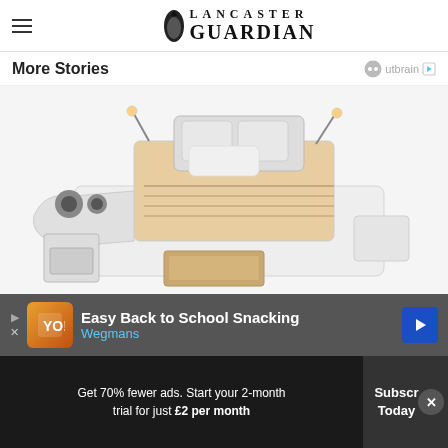Lancaster Guardian
More Stories
[Figure (photo): A large multifunctional luxury bed with built-in speakers, massage chair extensions, storage drawers, side tables with lamps, and reading attachments. White and cream colored.]
Easy Back to School Snacking
Wegmans
Get 70% fewer ads. Start your 2-month trial for just £2 per month
Subscribe Today